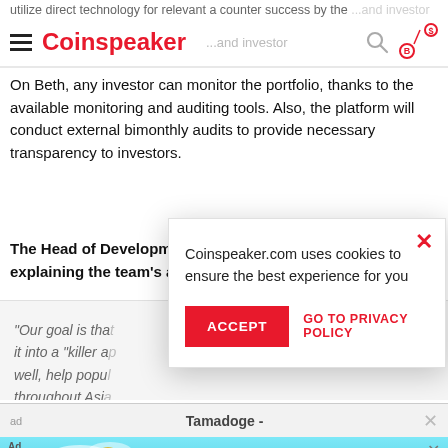Coinspeaker
On Beth, any investor can monitor the portfolio, thanks to the available monitoring and auditing tools. Also, the platform will conduct external bimonthly audits to provide necessary transparency to investors.
The Head of Development at Beth Dr. Seiji Yoshizaki, explaining the team's ambitions said
“Our goal is tha... it into a “killer a... well, help popu... throughout Asi...
Coinspeaker.com uses cookies to ensure the best experience for you
ACCEPT
GO TO PRIVACY POLICY
Tamadoge -
Tamadoge raises $500k in last 24 hours
READ MORE